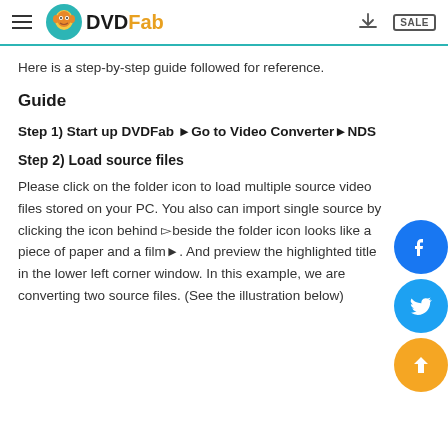DVDFab
Here is a step-by-step guide followed for reference.
Guide
Step 1) Start up DVDFab ►Go to Video Converter►NDS
Step 2) Load source files
Please click on the folder icon to load multiple source video files stored on your PC. You also can import single source by clicking the icon behind ▻eside the folder icon looks like a piece of paper and a film►. And preview the highlighted title in the lower left corner window. In this example, we are converting two source files. (See the illustration below)